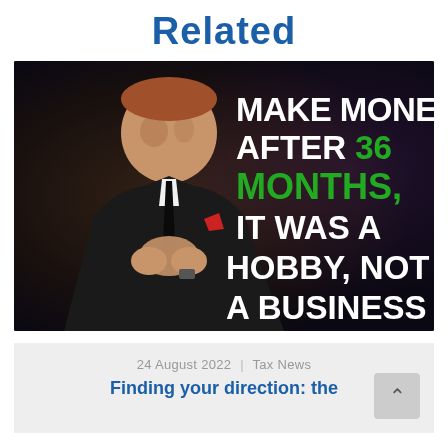Related
[Figure (photo): A man in a black suit with a red pocket square, fingers interlaced, with overlaid text reading: 'MAKE MONEY AFTER 36 MONTHS, IT WAS A HOBBY, NOT A BUSINESS' where '36 MONTHS,' is in green and the rest is in white.]
24 August 2022  |  Tax News
Finding your direction: the